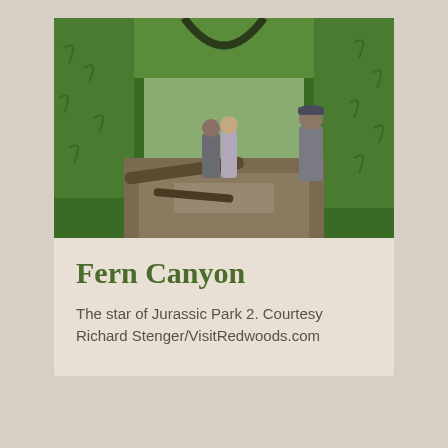[Figure (photo): Three people walking through Fern Canyon, a narrow gorge with tall walls completely covered in green ferns, with logs and a stream on the ground.]
Fern Canyon
The star of Jurassic Park 2. Courtesy Richard Stenger/VisitRedwoods.com